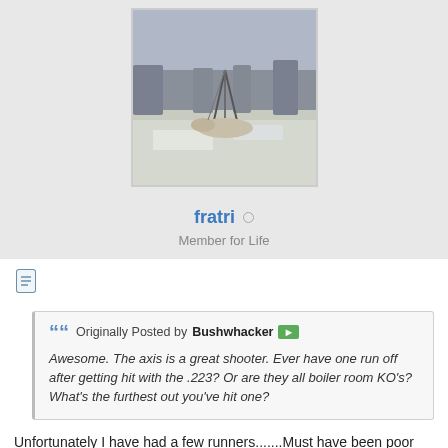[Figure (photo): Outdoor photo showing a hunted animal (deer/axis) staked out in a snowy field with trees in the background]
fratri ○
Member for Life
[Figure (other): Document/post icon]
Originally Posted by Bushwhacker ▶
Awesome. The axis is a great shooter. Ever have one run off after getting hit with the .223? Or are they all boiler room KO's? What's the furthest out you've hit one?
Unfortunately I have had a few runners.......Must have been poor shot placement.... I think the furthest I shot and killed one would have been about 250 yds or so..